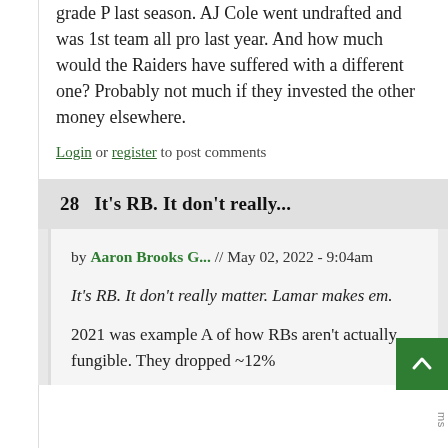grade P last season. AJ Cole went undrafted and was 1st team all pro last year. And how much would the Raiders have suffered with a different one? Probably not much if they invested the other money elsewhere.
Log in or register to post comments
28   It's RB. It don't really...
by Aaron Brooks G... // May 02, 2022 - 9:04am
It's RB. It don't really matter. Lamar makes em.
2021 was example A of how RBs aren't actually fungible. They dropped ~12%